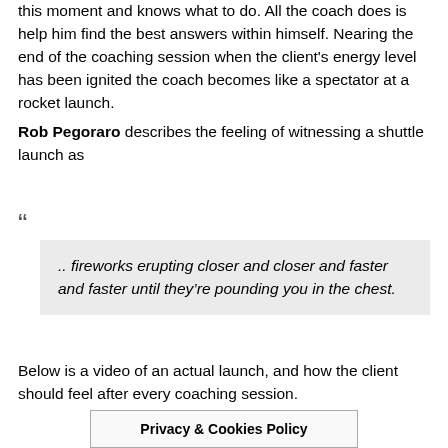this moment and knows what to do. All the coach does is help him find the best answers within himself. Nearing the end of the coaching session when the client's energy level has been ignited the coach becomes like a spectator at a rocket launch.
Rob Pegoraro describes the feeling of witnessing a shuttle launch as
.. fireworks erupting closer and closer and faster and faster until they're pounding you in the chest.
Below is a video of an actual launch, and how the client should feel after every coaching session.
Privacy & Cookies Policy